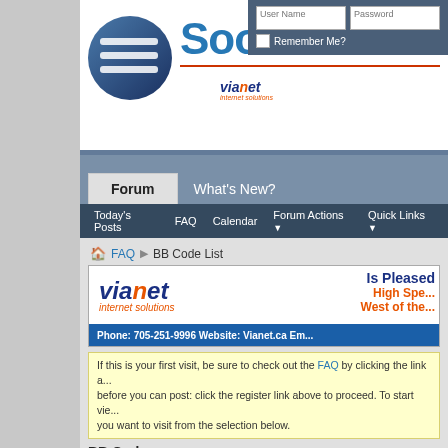Soonet.ca - vianet - Forum - What's New?
Forum | What's New?
Today's Posts  FAQ  Calendar  Forum Actions  Quick Links
FAQ > BB Code List
[Figure (advertisement): Vianet internet solutions advertisement banner. Left side shows vianet internet solutions logo in dark blue and orange italic text. Right side says 'Is Pleased to offer High Speed ... West of the...' in dark blue and orange. Bottom bar shows 'Phone: 705-251-9996 Website: Vianet.ca Em...' in white on blue background.]
If this is your first visit, be sure to check out the FAQ by clicking the link a... before you can post: click the register link above to proceed. To start vie... you want to visit from the selection below.
BB Code
| Explanation |
| --- |
| BB code is a set of tags based on the HTML language that you ma... allow you to add formatting to your messages in the same way as H... syntax and will never break the layout of the pages you are viewin... |